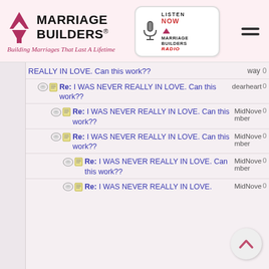[Figure (logo): Marriage Builders logo with red arrow triangles and tagline 'Building Marriages That Last A Lifetime']
[Figure (logo): Listen Now Marriage Builders Radio button with microphone icon]
REALLY IN LOVE. Can this work??  way
Re: I WAS NEVER REALLY IN LOVE. Can this work??  dearheart
Re: I WAS NEVER REALLY IN LOVE. Can this work??  MidNovember
Re: I WAS NEVER REALLY IN LOVE. Can this work??  MidNovember
Re: I WAS NEVER REALLY IN LOVE. Can this work??  MidNovember
Re: I WAS NEVER REALLY IN LOVE.  MidNove